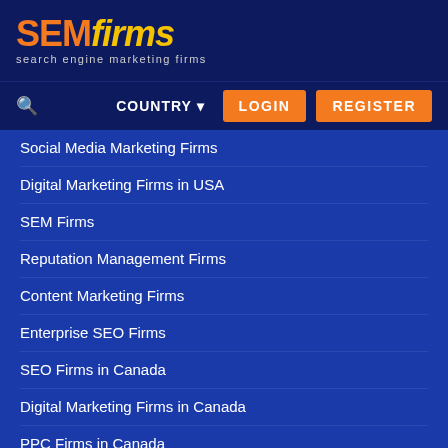[Figure (logo): SEMfirms logo with orange SEM and yellow italic firms text, tagline 'search engine marketing firms']
COUNTRY ▾   LOGIN   REGISTER
Social Media Marketing Firms
Digital Marketing Firms in USA
SEM Firms
Reputation Management Firms
Content Marketing Firms
Enterprise SEO Firms
SEO Firms in Canada
Digital Marketing Firms in Canada
PPC Firms in Canada
Reviews